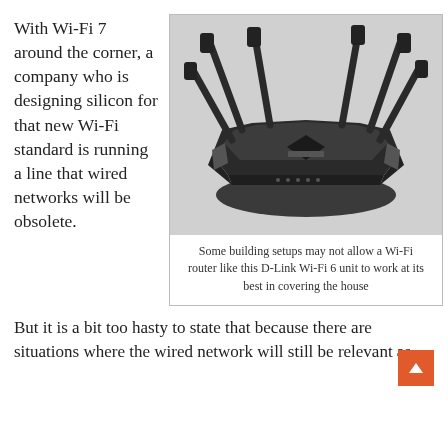With Wi-Fi 7 around the corner, a company who is designing silicon for that new Wi-Fi standard is running a line that wired networks will be obsolete.
[Figure (photo): A D-Link Wi-Fi 6 router with multiple antennas, shown in black, grayscale product photograph.]
Some building setups may not allow a Wi-Fi router like this D-Link Wi-Fi 6 unit to work at its best in covering the house
But it is a bit too hasty to state that because there are situations where the wired network will still be relevant as